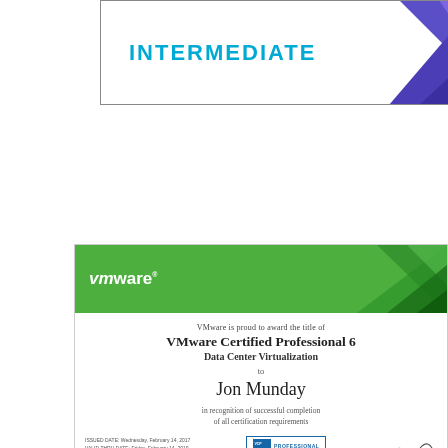[Figure (illustration): Certificate banner with INTERMEDIATE text in teal/cyan color on white background with blue-purple geometric graphic on right side]
[Figure (illustration): VMware Certified Professional 6 Data Center Virtualization certificate with green header banner featuring vmware logo and geometric shapes, certificate body with recipient Jon Munday, footer with dates, VCP badge and signature, gray bottom bar]
[Figure (illustration): VMware vExpert certificate with blue header banner featuring vmware logo and teal/green geometric shapes, partial view showing VMware vExpert title]